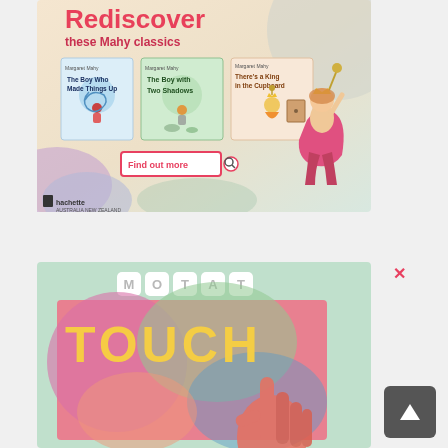[Figure (illustration): Hachette book advertisement: 'Rediscover these Mahy classics' showing three book covers - The Boy Who Made Things Up, The Boy with Two Shadows, There's a King in the Cupboard - with a Find out more button and Hachette logo, illustrated fairy-tale character on the right]
[Figure (photo): MOTAT Touch exhibition advertisement with colorful photo of a child's hand touching a glowing surface, MOTAT logo in hexagonal letters at top, TOUCH text in yellow, with close X button and scroll-to-top button]